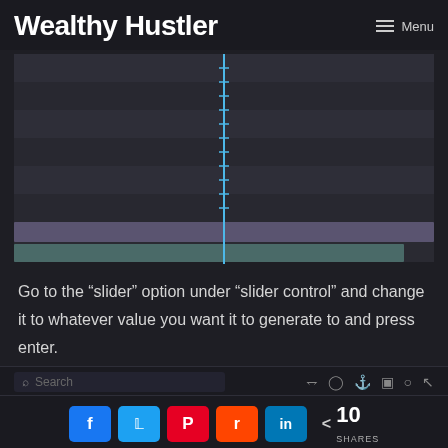Wealthy Hustler | Menu
[Figure (screenshot): Screenshot of a video editing or slider control interface showing a dark timeline with horizontal rows, a vertical blue line (playhead/marker) positioned roughly in the center, and two colored horizontal bars near the bottom — one muted purple and one muted teal/green.]
Go to the “slider” option under “slider control” and change it to whatever value you want it to generate to and press enter.
Search | toolbar icons | Facebook | Twitter | Pinterest | Reddit | LinkedIn | < 10 SHARES